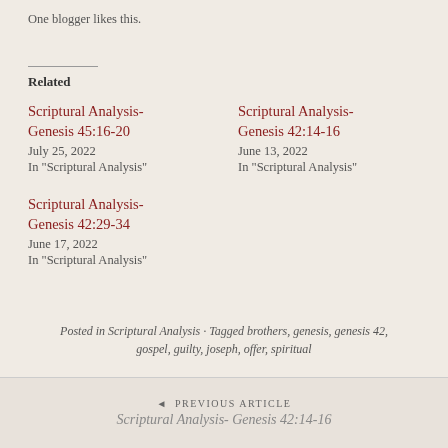One blogger likes this.
Related
Scriptural Analysis- Genesis 45:16-20
July 25, 2022
In "Scriptural Analysis"
Scriptural Analysis- Genesis 42:14-16
June 13, 2022
In "Scriptural Analysis"
Scriptural Analysis- Genesis 42:29-34
June 17, 2022
In "Scriptural Analysis"
Posted in Scriptural Analysis · Tagged brothers, genesis, genesis 42, gospel, guilty, joseph, offer, spiritual
◄ PREVIOUS ARTICLE
Scriptural Analysis- Genesis 42:14-16